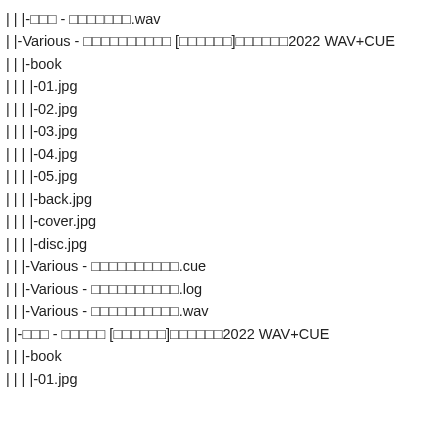| | |-□□□ - □□□□□□□.wav
| |-Various - □□□□□□□□□□ [□□□□□□]□□□□□□2022 WAV+CUE
| | |-book
| | | |-01.jpg
| | | |-02.jpg
| | | |-03.jpg
| | | |-04.jpg
| | | |-05.jpg
| | | |-back.jpg
| | | |-cover.jpg
| | | |-disc.jpg
| | |-Various - □□□□□□□□□□.cue
| | |-Various - □□□□□□□□□□.log
| | |-Various - □□□□□□□□□□.wav
| |-□□□ - □□□□□ [□□□□□□]□□□□□□2022 WAV+CUE
| | |-book
| | | |-01.jpg